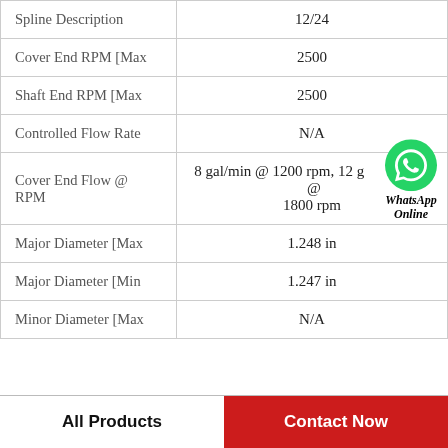| Property | Value |
| --- | --- |
| Spline Description | 12/24 |
| Cover End RPM [Max | 2500 |
| Shaft End RPM [Max | 2500 |
| Controlled Flow Rate | N/A |
| Cover End Flow @ RPM | 8 gal/min @ 1200 rpm, 12 g @ 1800 rpm |
| Major Diameter [Max | 1.248 in |
| Major Diameter [Min | 1.247 in |
| Minor Diameter [Max | N/A |
All Products   Contact Now